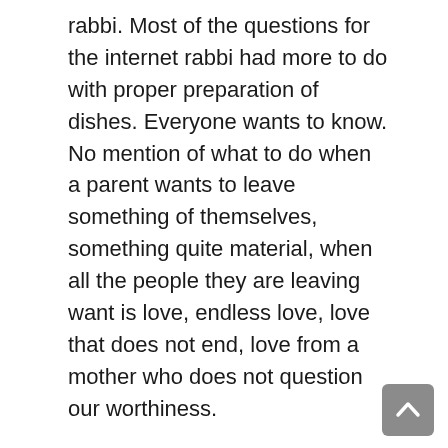rabbi. Most of the questions for the internet rabbi had more to do with proper preparation of dishes. Everyone wants to know. No mention of what to do when a parent wants to leave something of themselves, something quite material, when all the people they are leaving want is love, endless love, love that does not end, love from a mother who does not question our worthiness.
Ma, I said, coming clean, don't you realize I don't want an emerald, I just want you to know you got your point across: that I feel loved. Hello! Success! Someone actually